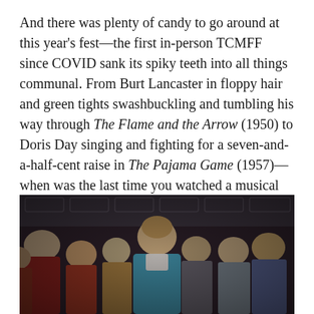And there was plenty of candy to go around at this year's fest—the first in-person TCMFF since COVID sank its spiky teeth into all things communal. From Burt Lancaster in floppy hair and green tights swashbuckling and tumbling his way through The Flame and the Arrow (1950) to Doris Day singing and fighting for a seven-and-a-half-cent raise in The Pajama Game (1957)—when was the last time you watched a musical about labor unions?
[Figure (photo): A still from The Pajama Game (1957) showing Doris Day in a teal outfit in the center, surrounded by a crowd of women with varied expressions in an indoor factory-like setting.]